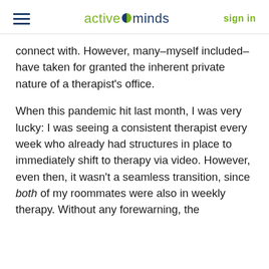active minds | sign in
connect with. However, many–myself included–have taken for granted the inherent private nature of a therapist's office.
When this pandemic hit last month, I was very lucky: I was seeing a consistent therapist every week who already had structures in place to immediately shift to therapy via video. However, even then, it wasn't a seamless transition, since both of my roommates were also in weekly therapy. Without any forewarning, the